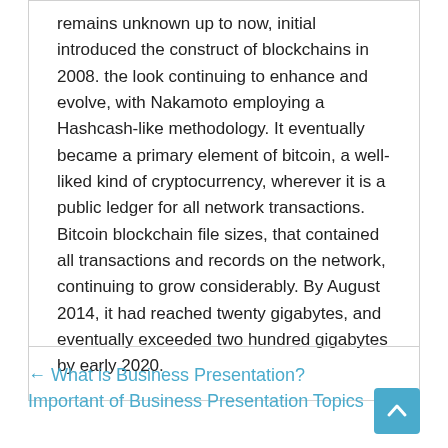remains unknown up to now, initial introduced the construct of blockchains in 2008. the look continuing to enhance and evolve, with Nakamoto employing a Hashcash-like methodology. It eventually became a primary element of bitcoin, a well-liked kind of cryptocurrency, wherever it is a public ledger for all network transactions. Bitcoin blockchain file sizes, that contained all transactions and records on the network, continuing to grow considerably. By August 2014, it had reached twenty gigabytes, and eventually exceeded two hundred gigabytes by early 2020.
← What is Business Presentation? Important of Business Presentation Topics